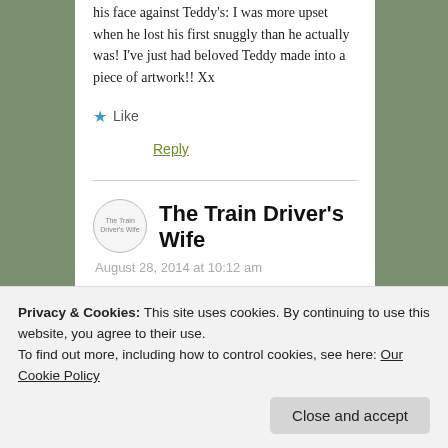his face against Teddy's: I was more upset when he lost his first snuggly than he actually was! I've just had beloved Teddy made into a piece of artwork!! Xx
★ Like
Reply
The Train Driver's Wife
August 28, 2014 at 10:12 am
Privacy & Cookies: This site uses cookies. By continuing to use this website, you agree to their use.
To find out more, including how to control cookies, see here: Our Cookie Policy
Close and accept